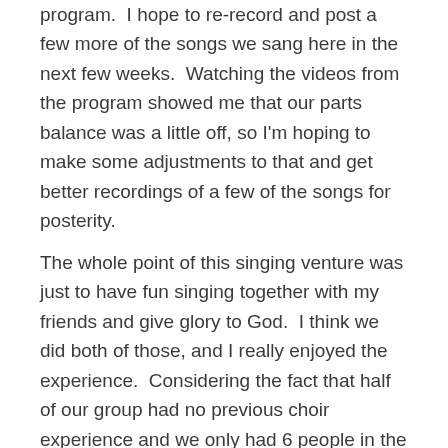program.  I hope to re-record and post a few more of the songs we sang here in the next few weeks.  Watching the videos from the program showed me that our parts balance was a little off, so I'm hoping to make some adjustments to that and get better recordings of a few of the songs for posterity.
The whole point of this singing venture was just to have fun singing together with my friends and give glory to God.  I think we did both of those, and I really enjoyed the experience.  Considering the fact that half of our group had no previous choir experience and we only had 6 people in the ensemble, I was happy with how well the program went.  I was so proud of all the effort everyone put into practicing and learning!  It really was a learning experience for everyone, I think –